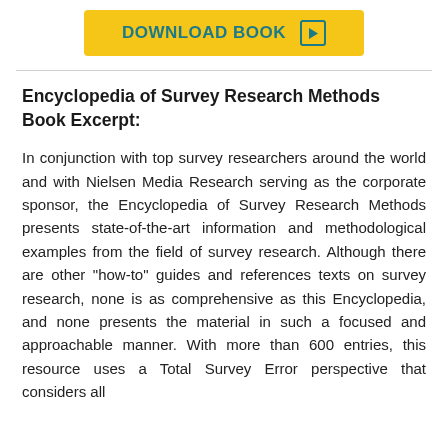[Figure (other): Yellow download book button with teal text and arrow icon]
Encyclopedia of Survey Research Methods Book Excerpt:
In conjunction with top survey researchers around the world and with Nielsen Media Research serving as the corporate sponsor, the Encyclopedia of Survey Research Methods presents state-of-the-art information and methodological examples from the field of survey research. Although there are other "how-to" guides and references texts on survey research, none is as comprehensive as this Encyclopedia, and none presents the material in such a focused and approachable manner. With more than 600 entries, this resource uses a Total Survey Error perspective that considers all